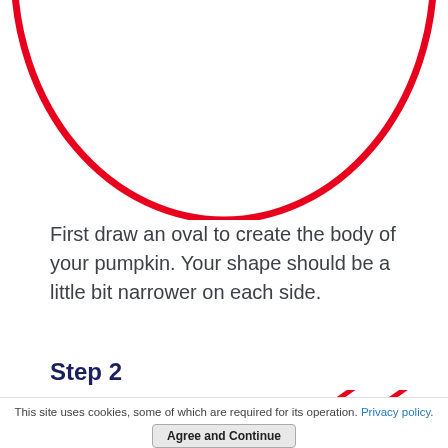[Figure (illustration): A red oval/circle shape (bottom half visible) representing the body of a pumpkin drawing tutorial step 1]
First draw an oval to create the body of your pumpkin. Your shape should be a little bit narrower on each side.
Step 2
[Figure (illustration): A red arrow/pencil pointer indicating where to draw on a curved black arc shape, part of pumpkin drawing tutorial step 2]
This site uses cookies, some of which are required for its operation. Privacy policy.
Agree and Continue